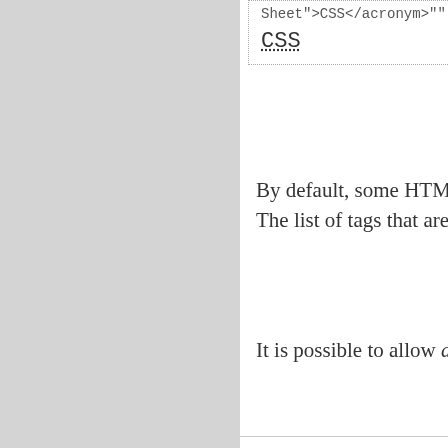Sheet">CSS</acronym>""
CSS
By default, some HTML tags are removed by t The list of tags that are stripped can be found
It is possible to allow all HTML tags to be use
CategoryWiki
There are no comments on this page.
[Source]   [History]   2011-12-16 09:38:08   Owner: MorganAdm